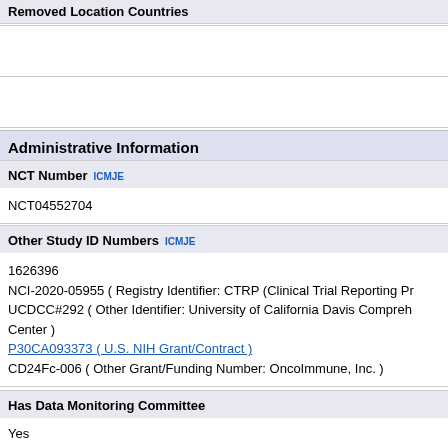Removed Location Countries
Administrative Information
NCT Number  ICMJE
NCT04552704
Other Study ID Numbers  ICMJE
1626396
NCI-2020-05955 ( Registry Identifier: CTRP (Clinical Trial Reporting Pr
UCDCC#292 ( Other Identifier: University of California Davis Compreh
Center )
P30CA093373 ( U.S. NIH Grant/Contract )
CD24Fc-006 ( Other Grant/Funding Number: OncoImmune, Inc. )
Has Data Monitoring Committee
Yes